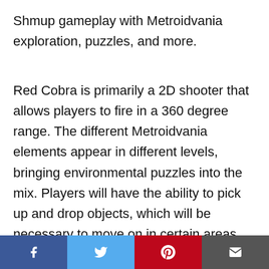Shmup gameplay with Metroidvania exploration, puzzles, and more.
Red Cobra is primarily a 2D shooter that allows players to fire in a 360 degree range. The different Metroidvania elements appear in different levels, bringing environmental puzzles into the mix. Players will have the ability to pick up and drop objects, which will be necessary to move on in certain areas. There will also be boss battles of many types,
Social share bar: Facebook, Twitter, Pinterest, Email